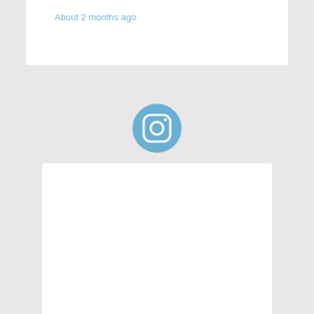About 2 months ago
[Figure (logo): Instagram logo icon — blue circle with rounded square camera outline and inner circle, white icon on blue background]